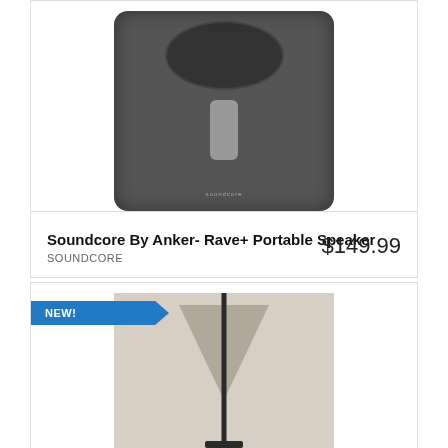[Figure (photo): Photo of a black Soundcore portable Bluetooth speaker against a white background]
Soundcore By Anker- Rave+ Portable Speaker
SOUNDCORE
$149.99
NEW!
[Figure (photo): Photo of a floor lamp with a trapezoidal shade on a wooden floor background]